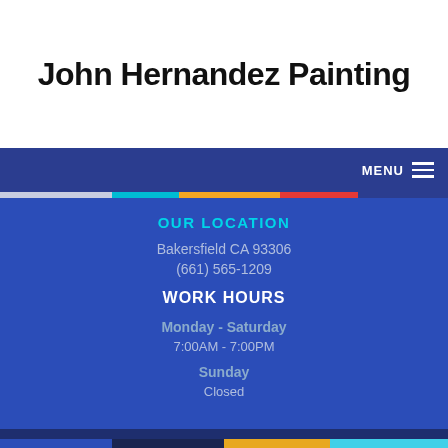John Hernandez Painting
MENU
OUR LOCATION
Bakersfield CA 93306
(661) 565-1209
WORK HOURS
Monday - Saturday
7:00AM - 7:00PM
Sunday
Closed
S TODAY